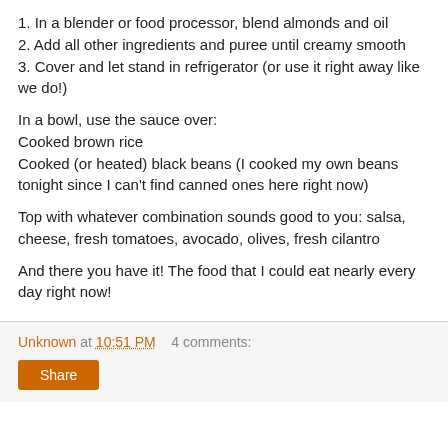1. In a blender or food processor, blend almonds and oil
2. Add all other ingredients and puree until creamy smooth
3. Cover and let stand in refrigerator (or use it right away like we do!)
In a bowl, use the sauce over:
Cooked brown rice
Cooked (or heated) black beans (I cooked my own beans tonight since I can't find canned ones here right now)
Top with whatever combination sounds good to you: salsa, cheese, fresh tomatoes, avocado, olives, fresh cilantro
And there you have it! The food that I could eat nearly every day right now!
Unknown at 10:51 PM   4 comments: